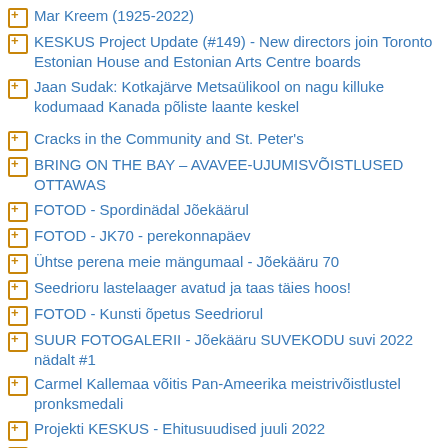Mar Kreem (1925-2022)
KESKUS Project Update (#149) - New directors join Toronto Estonian House and Estonian Arts Centre boards
Jaan Sudak: Kotkajärve Metsaülikool on nagu killuke kodumaad Kanada põliste laante keskel
Cracks in the Community and St. Peter's
BRING ON THE BAY – AVAVEE-UJUMISVÕISTLUSED OTTAWAS
FOTOD - Spordinädal Jõekäärul
FOTOD - JK70 - perekonnapäev
Ühtse perena meie mängumaal - Jõekääru 70
Seedrioru lastelaager avatud ja taas täies hoos!
FOTOD - Kunsti õpetus Seedriorul
SUUR FOTOGALERII - Jõekääru SUVEKODU suvi 2022 nädalt #1
Carmel Kallemaa võitis Pan-Ameerika meistrivõistlustel pronksmedali
Projekti KESKUS - Ehitusuudised juuli 2022
Projekti KESKUS Teade #148 - Tantsupidu 2025! Naiste tantsurühm on moodustamisel
EERO verstapostid ja aastakoosolek 2022